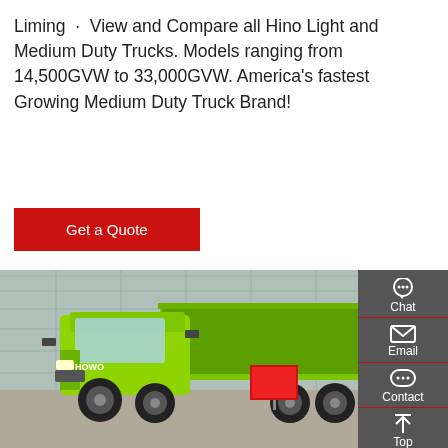Liming · View and Compare all Hino Light and Medium Duty Trucks. Models ranging from 14,500GVW to 33,000GVW. America's fastest Growing Medium Duty Truck Brand!
[Figure (other): Red 'Get a Quote' button]
[Figure (photo): A bright green heavy-duty dump truck (HOWO brand) parked in front of a glass-paneled building, with a red sign/board visible near the truck's side.]
[Figure (other): Sidebar with Chat, Email, Contact, and Top navigation icons on a dark grey background]